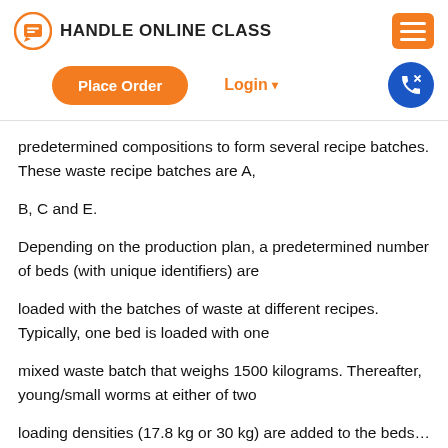HANDLE ONLINE CLASS
[Figure (logo): Handle Online Class logo with orange circle icon and text]
predetermined compositions to form several recipe batches. These waste recipe batches are A,
B, C and E.
Depending on the production plan, a predetermined number of beds (with unique identifiers) are
loaded with the batches of waste at different recipes. Typically, one bed is loaded with one
mixed waste batch that weighs 1500 kilograms. Thereafter, young/small worms at either of two
loading densities (17.8 kg or 30 kg) are added to the beds...